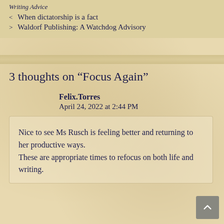Writing Advice
< When dictatorship is a fact
> Waldorf Publishing: A Watchdog Advisory
3 thoughts on “Focus Again”
Felix.Torres
April 24, 2022 at 2:44 PM
Nice to see Ms Rusch is feeling better and returning to her productive ways. These are appropriate times to refocus on both life and writing.